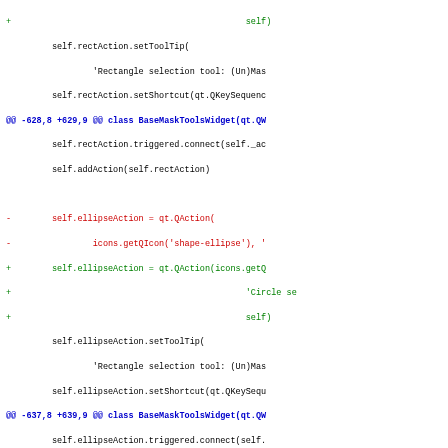Code diff showing modifications to BaseMaskToolsWidget class with rectAction, ellipseAction, and polygonAction changes